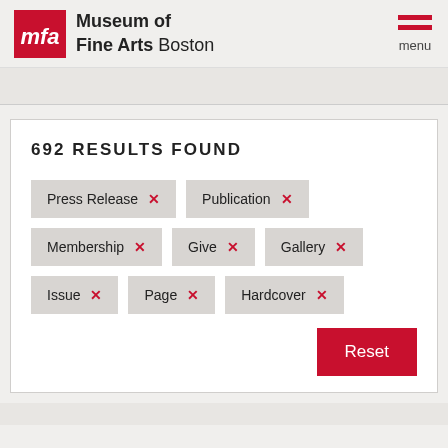[Figure (logo): Museum of Fine Arts Boston logo with red MFA square and text]
692 RESULTS FOUND
Press Release ×
Publication ×
Membership ×
Give ×
Gallery ×
Issue ×
Page ×
Hardcover ×
Reset